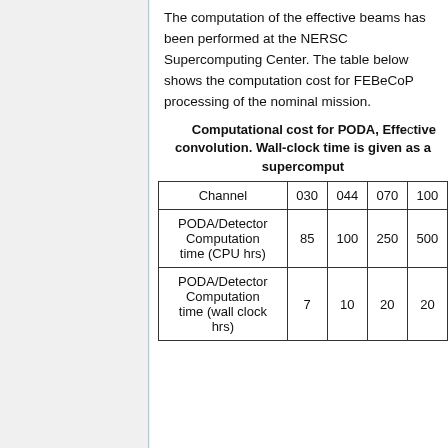The computation of the effective beams has been performed at the NERSC Supercomputing Center. The table below shows the computation cost for FEBeCoP processing of the nominal mission.
Computational cost for PODA, Effective Beams convolution. Wall-clock time is given as a supercomput...
| Channel | 030 | 044 | 070 | 100 |
| --- | --- | --- | --- | --- |
| PODA/Detector Computation time (CPU hrs) | 85 | 100 | 250 | 500 |
| PODA/Detector Computation time (wall clock hrs) | 7 | 10 | 20 | 20 |